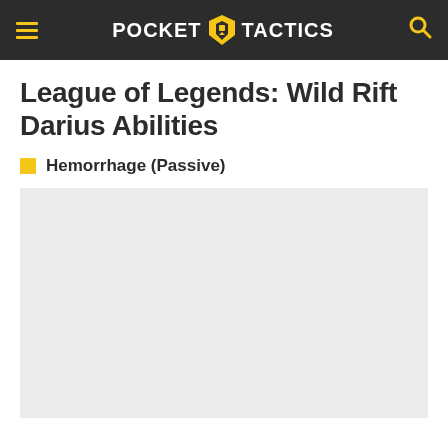POCKET TACTICS
League of Legends: Wild Rift Darius Abilities
Hemorrhage (Passive)
[Figure (other): Light gray rectangular image placeholder area]